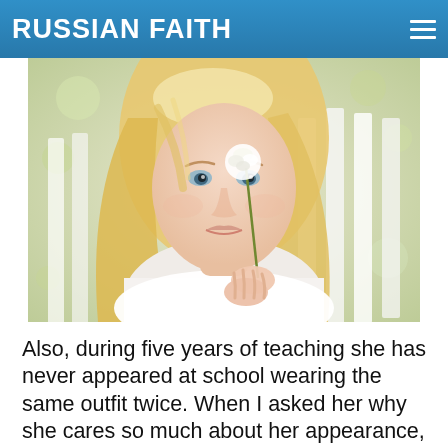RUSSIAN FAITH
[Figure (photo): Young blonde woman holding a white flower, wearing a white top, photographed outdoors with soft bokeh background]
Also, during five years of teaching she has never appeared at school wearing the same outfit twice. When I asked her why she cares so much about her appearance, she looks surprised: “Why would I choose to not look beautiful? Beauty is power and respect. How is anyone going to notice your rich inner world if you don’t attract